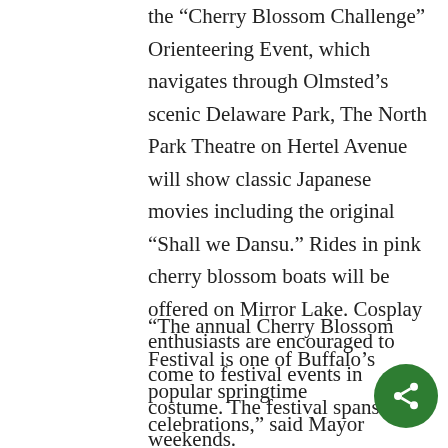the “Cherry Blossom Challenge” Orienteering Event, which navigates through Olmsted’s scenic Delaware Park, The North Park Theatre on Hertel Avenue will show classic Japanese movies including the original “Shall we Dansu.” Rides in pink cherry blossom boats will be offered on Mirror Lake. Cosplay enthusiasts are encouraged to come to festival events in costume. The festival spans two weekends.
“The annual Cherry Blossom Festival is one of Buffalo’s popular springtime celebrations,” said Mayor Byron Brown. “The festival is a great way for city residents and visitors to experience first-hand why Delaware Park, designed by Frederick Law Olmsted, is one of the top ten best urban parks in the world and also recognized as one of the ‘Great Places in America’. Through the City of